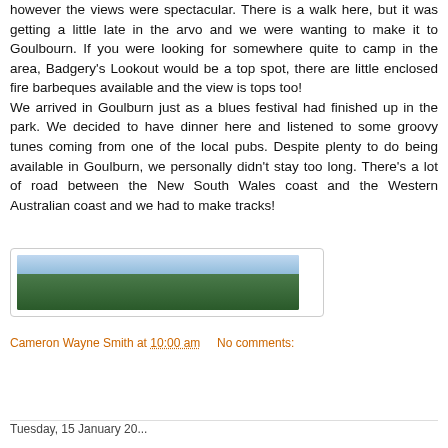however the views were spectacular. There is a walk here, but it was getting a little late in the arvo and we were wanting to make it to Goulbourn. If you were looking for somewhere quite to camp in the area, Badgery's Lookout would be a top spot, there are little enclosed fire barbeques available and the view is tops too! We arrived in Goulburn just as a blues festival had finished up in the park. We decided to have dinner here and listened to some groovy tunes coming from one of the local pubs. Despite plenty to do being available in Goulburn, we personally didn't stay too long. There's a lot of road between the New South Wales coast and the Western Australian coast and we had to make tracks!
[Figure (photo): A wide panoramic landscape photo showing green forested hills and valleys with a blue sky above, likely taken from Badgery's Lookout area.]
Cameron Wayne Smith at 10:00 am    No comments:
Share